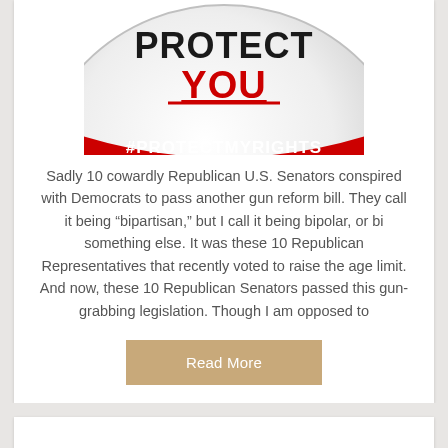[Figure (illustration): A red and white circular badge/button showing 'PROTECT YOU' in bold black and red underlined text, with '#PROTECTMYRIGHTS' in white text on a red band below, partially cropped at top]
Sadly 10 cowardly Republican U.S. Senators conspired with Democrats to pass another gun reform bill. They call it being “bipartisan,” but I call it being bipolar, or bi something else. It was these 10 Republican Representatives that recently voted to raise the age limit. And now, these 10 Republican Senators passed this gun-grabbing legislation. Though I am opposed to
Read More
The prolific speech by Charlton